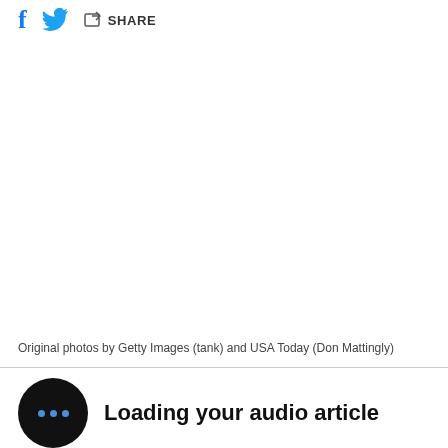f  [twitter bird]  [share icon] SHARE
[Figure (other): Large white/blank image area placeholder]
Original photos by Getty Images (tank) and USA Today (Don Mattingly)
Loading your audio article